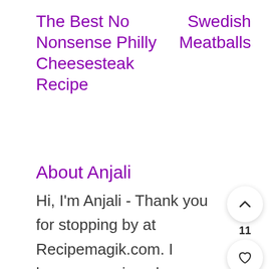The Best No Nonsense Philly Cheesesteak Recipe
Swedish Meatballs
About Anjali
Hi, I'm Anjali - Thank you for stopping by at Recipemagik.com. I hope you enjoyed your time reading through some of my contents. the voice and the thought behind this website. A mother of twins looking to make life